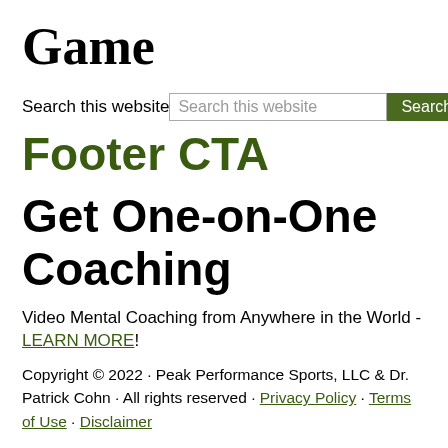Game
Search this website [Search this website] [Search]
Footer CTA
Get One-on-One Coaching
Video Mental Coaching from Anywhere in the World - LEARN MORE!
Copyright © 2022 · Peak Performance Sports, LLC & Dr. Patrick Cohn · All rights reserved · Privacy Policy · Terms of Use · Disclaimer